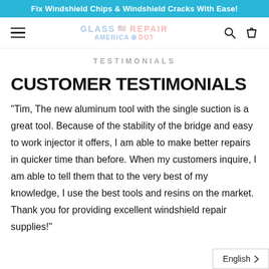Fix Windshield Chips & Windshield Cracks With Ease!
[Figure (logo): Website navigation bar with hamburger menu, blurred/faded logo in center, search icon and shopping bag icon on right]
TESTIMONIALS
CUSTOMER TESTIMONIALS
"Tim, The new aluminum tool with the single suction is a great tool. Because of the stability of the bridge and easy to work injector it offers, I am able to make better repairs in quicker time than before. When my customers inquire, I am able to tell them that to the very best of my knowledge, I use the best tools and resins on the market. Thank you for providing excellent windshield repair supplies!"